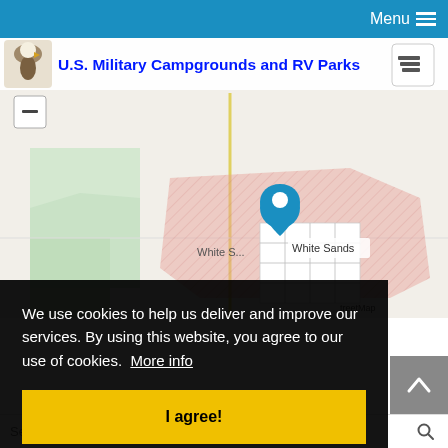Menu
U.S. Military Campgrounds and RV Parks
[Figure (map): Map showing White Sands area with a blue location pin marker labeled 'White Sands' over a pink/hatched military reservation area, with street grid and surrounding terrain.]
We use cookies to help us deliver and improve our services. By using this website, you agree to our use of cookies. More info
I agree!
Search reviews